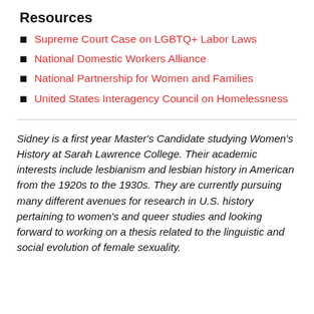Resources
Supreme Court Case on LGBTQ+ Labor Laws
National Domestic Workers Alliance
National Partnership for Women and Families
United States Interagency Council on Homelessness
Sidney is a first year Master's Candidate studying Women's History at Sarah Lawrence College. Their academic interests include lesbianism and lesbian history in American from the 1920s to the 1930s. They are currently pursuing many different avenues for research in U.S. history pertaining to women's and queer studies and looking forward to working on a thesis related to the linguistic and social evolution of female sexuality.